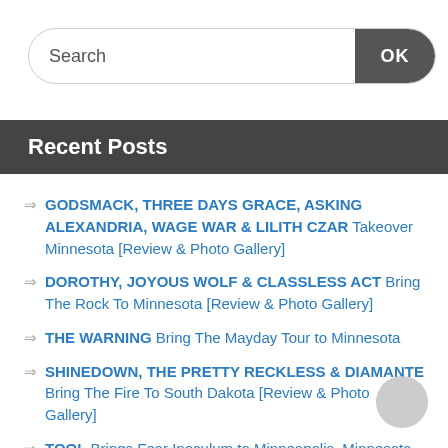[Figure (screenshot): Search bar with text input and OK button]
Recent Posts
GODSMACK, THREE DAYS GRACE, ASKING ALEXANDRIA, WAGE WAR & LILITH CZAR Takeover Minnesota [Review & Photo Gallery]
DOROTHY, JOYOUS WOLF & CLASSLESS ACT Bring The Rock To Minnesota [Review & Photo Gallery]
THE WARNING Bring The Mayday Tour to Minnesota
SHINEDOWN, THE PRETTY RECKLESS & DIAMANTE Bring The Fire To South Dakota [Review & Photo Gallery]
TOOL Brings Fear Inoculum to Minneapolis, Minnesota